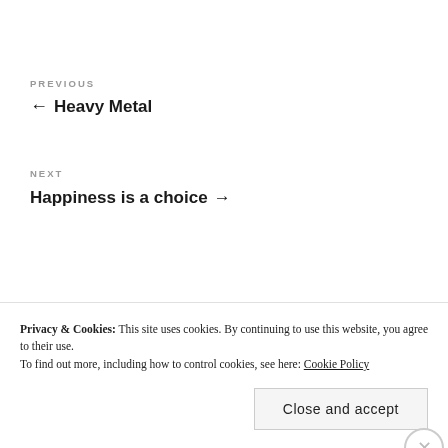PREVIOUS
← Heavy Metal
NEXT
Happiness is a choice →
Privacy & Cookies: This site uses cookies. By continuing to use this website, you agree to their use.
To find out more, including how to control cookies, see here: Cookie Policy
Close and accept